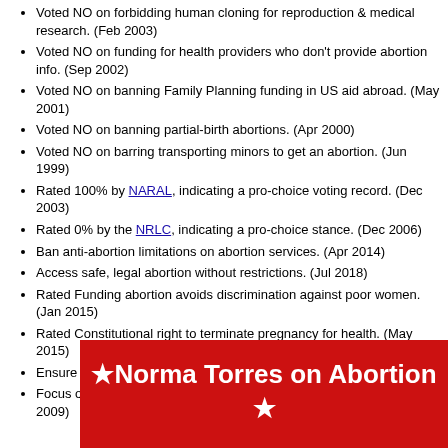Voted NO on forbidding human cloning for reproduction & medical research. (Feb 2003)
Voted NO on funding for health providers who don't provide abortion info. (Sep 2002)
Voted NO on banning Family Planning funding in US aid abroad. (May 2001)
Voted NO on banning partial-birth abortions. (Apr 2000)
Voted NO on barring transporting minors to get an abortion. (Jun 1999)
Rated 100% by NARAL, indicating a pro-choice voting record. (Dec 2003)
Rated 0% by the NRLC, indicating a pro-choice stance. (Dec 2006)
Ban anti-abortion limitations on abortion services. (Apr 2014)
Access safe, legal abortion without restrictions. (Jul 2018)
Rated Funding abortion avoids discrimination against poor women. (Jan 2015)
Rated Constitutional right to terminate pregnancy for health. (May 2015)
Ensure access to and funding for contraception. (Feb 2007)
Focus on preventing pregnancy, plus emergency contraception. (Jan 2009)
★ Norma Torres on Abortion ★